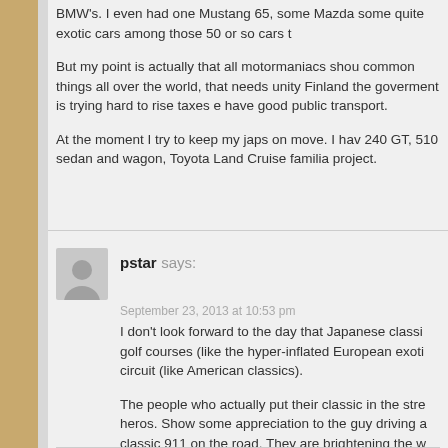BMW's. I even had one Mustang 65, some Mazda some quite exotic cars among those 50 or so cars t
But my point is actually that all motormaniacs shou common things all over the world, that needs unity Finland the goverment is trying hard to rise taxes e have good public transport.
At the moment I try to keep my japs on move. I hav 240 GT, 510 sedan and wagon, Toyota Land Cruise familia project.
pstar says:
September 23, 2013 at 10:53 pm
I don't look forward to the day that Japanese classi golf courses (like the hyper-inflated European exoti circuit (like American classics).
The people who actually put their classic in the stre heros. Show some appreciation to the guy driving a classic 911 on the road. They are brightening the w "enviromentalist" and "consumer safety" douchebag